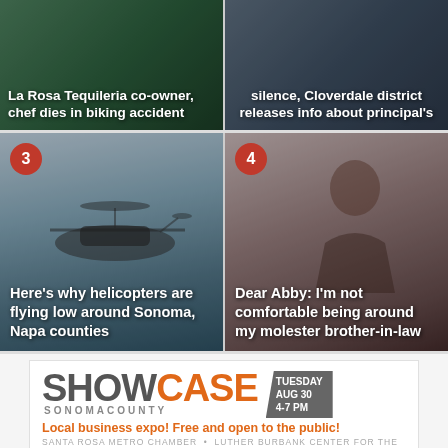[Figure (photo): Story 1: La Rosa Tequileria co-owner, chef dies in biking accident — green-toned image with person]
[Figure (photo): Story 2: Silence, Cloverdale district releases info about principal's — indoor scene]
[Figure (photo): Story 3 numbered badge 3 — helicopter flying low, Sonoma Napa counties]
[Figure (photo): Story 4 numbered badge 4 — Dear Abby: woman sitting indoors]
[Figure (infographic): Showcase Sonoma County advertisement — local business expo, Tuesday Aug 30 4-7 PM, Santa Rosa Metro Chamber, Luther Burbank Center for the Arts]
We use cookies to optimize your experience, analyze traffic, and personalize content. To learn more, please visit our Privacy Policy.
Cookie Settings
Accept Cookies